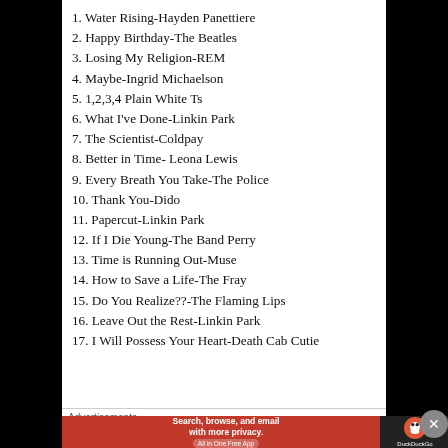1. Water Rising-Hayden Panettiere
2. Happy Birthday-The Beatles
3. Losing My Religion-REM
4. Maybe-Ingrid Michaelson
5. 1,2,3,4 Plain White Ts
6. What I've Done-Linkin Park
7. The Scientist-Coldpay
8. Better in Time- Leona Lewis
9. Every Breath You Take-The Police
10. Thank You-Dido
11. Papercut-Linkin Park
12. If I Die Young-The Band Perry
13. Time is Running Out-Muse
14. How to Save a Life-The Fray
15. Do You Realize??-The Flaming Lips
16. Leave Out the Rest-Linkin Park
17. I Will Possess Your Heart-Death Cab Cutie
Advertisements
[Figure (other): DuckDuckGo advertisement banner: Search, browse, and email with more privacy. All in One Free App. DuckDuckGo logo.]